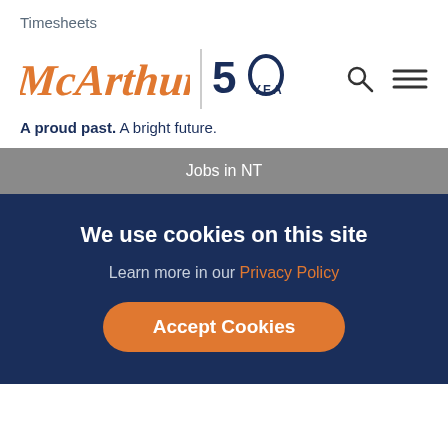Timesheets
[Figure (logo): McArthur logo with 50 Years badge and navigation icons]
A proud past. A bright future.
Jobs in NT
We use cookies on this site
Learn more in our Privacy Policy
Accept Cookies